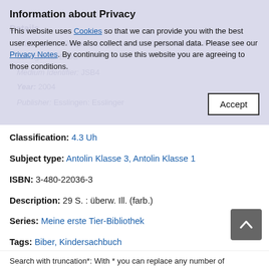Information about Privacy
This website uses Cookies so that we can provide you with the best user experience. We also collect and use personal data. Please see our Privacy Notes. By continuing to use this website you are agreeing to those conditions.
Details
Statement of Responsibility: Text von Valerie Tracqui, Fotos von der Agentur BIOS
Medium Identifier: JSB4
Year: 2004
Publisher: Esslingen: Esslinger
Classification: 4.3 Uh
Subject type: Antolin Klasse 3, Antolin Klasse 1
ISBN: 3-480-22036-3
Description: 29 S. : überw. Ill. (farb.)
Series: Meine erste Tier-Bibliothek
Tags: Biber, Kindersachbuch
Participating parties: Tracqui, Valerie
Original title: Le castor, champion des bûcheron
Footnote: Aus dem Franz. übers.
Media group: Jugendsachbuch
Search with truncation*: With * you can replace any number of characters.